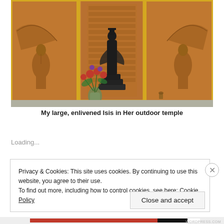[Figure (photo): A large dark Egyptian Isis statue seated on a tiered black pedestal, set against three copper/bronze relief panels featuring winged figures. A glass vase with red and purple flowers sits in front of the statue. The panels and statue are housed in an outdoor temple setting with golden frames.]
My large, enlivened Isis in Her outdoor temple
Loading...
Privacy & Cookies: This site uses cookies. By continuing to use this website, you agree to their use.
To find out more, including how to control cookies, see here: Cookie Policy
Close and accept